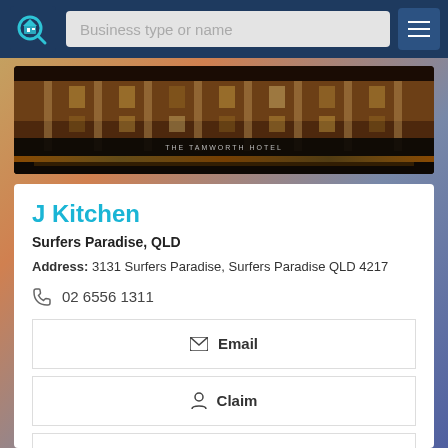Business type or name
[Figure (photo): Photo of The Tamworth Hotel building facade at night with illuminated signage and columns]
J Kitchen
Surfers Paradise, QLD
Address: 3131 Surfers Paradise, Surfers Paradise QLD 4217
02 6556 1311
Email
Claim
Call Now